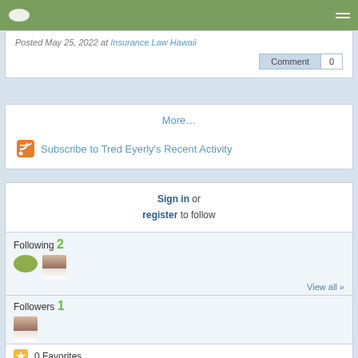Navigation bar with logo and menu
Posted May 25, 2022 at Insurance Law Hawaii
Comment 0
More…
Subscribe to Tred Eyerly's Recent Activity
Sign in or register to follow
Following 2
View all »
Followers 1
View all »
0 Favorites